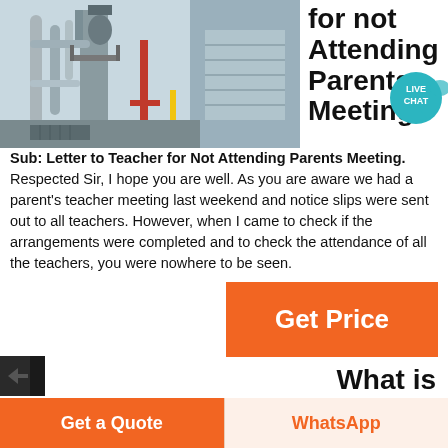[Figure (photo): Industrial machinery/plant with pipes, towers and metal structures, blue/grey building in background]
for not Attending Parents Meeting
Sub: Letter to Teacher for Not Attending Parents Meeting. Respected Sir, I hope you are well. As you are aware we had a parent's teacher meeting last weekend and notice slips were sent out to all teachers. However, when I came to check if the arrangements were completed and to check the attendance of all the teachers, you were nowhere to be seen.
[Figure (other): Get Price orange button]
[Figure (other): Small thumbnail image (partial, cut off at bottom)]
What is
Get a Quote
WhatsApp